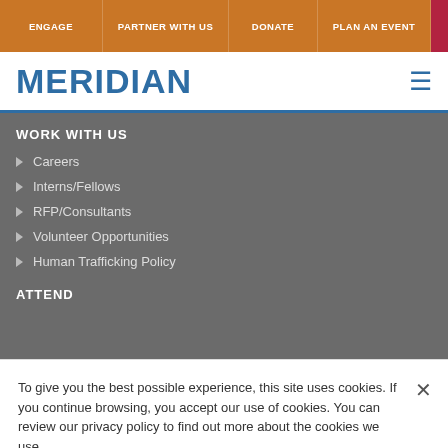ENGAGE | PARTNER WITH US | DONATE | PLAN AN EVENT | MERIDIAN NEWS
MERIDIAN
WORK WITH US
Careers
Interns/Fellows
RFP/Consultants
Volunteer Opportunities
Human Trafficking Policy
ATTEND
To give you the best possible experience, this site uses cookies. If you continue browsing, you accept our use of cookies. You can review our privacy policy to find out more about the cookies we use.
Cookies Settings | Accept All Cookies